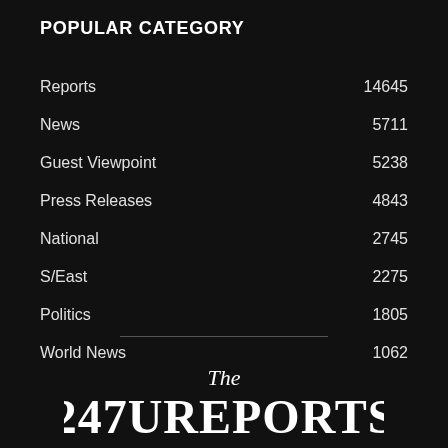POPULAR CATEGORY
Reports   14645
News   5711
Guest Viewpoint   5238
Press Releases   4843
National   2745
S/East   2275
Politics   1805
World News   1062
[Figure (logo): The 247UREPORTS newspaper logo in blackletter/gothic style font on dark background]